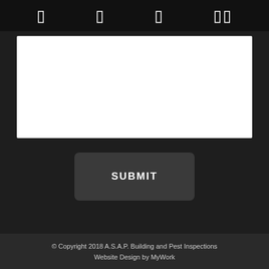[Figure (screenshot): Top navigation bar with dark background showing four icon characters (UI icons rendered as box characters) in white on black bar]
[Figure (screenshot): White content area / text input field]
SUBMIT
© Copyright 2018 A.S.A.P. Building and Pest Inspections
Website Design by MyWork